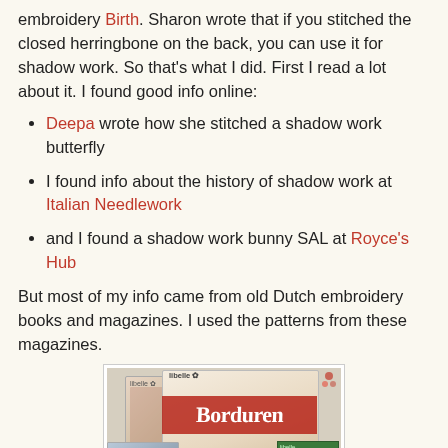embroidery Birth. Sharon wrote that if you stitched the closed herringbone on the back, you can use it for shadow work. So that’s what I did. First I read a lot about it. I found good info online:
Deepa wrote how she stitched a shadow work butterfly
I found info about the history of shadow work at Italian Needlework
and I found a shadow work bunny SAL at Royce’s Hub
But most of my info came from old Dutch embroidery books and magazines. I used the patterns from these magazines.
[Figure (photo): Dutch embroidery magazines including Libelle Borduren stacked/overlapping, showing colorful covers with the title Borduren in large red script on one magazine, and a smaller green-covered magazine in the foreground.]